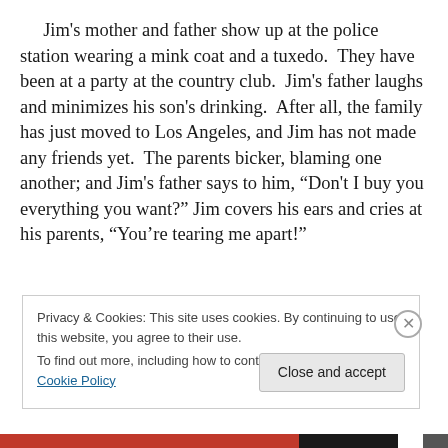Jim's mother and father show up at the police station wearing a mink coat and a tuxedo. They have been at a party at the country club. Jim's father laughs and minimizes his son's drinking. After all, the family has just moved to Los Angeles, and Jim has not made any friends yet. The parents bicker, blaming one another; and Jim's father says to him, “Don't I buy you everything you want?” Jim covers his ears and cries at his parents, “You’re tearing me apart!”
Privacy & Cookies: This site uses cookies. By continuing to use this website, you agree to their use.
To find out more, including how to control cookies, see here: Cookie Policy